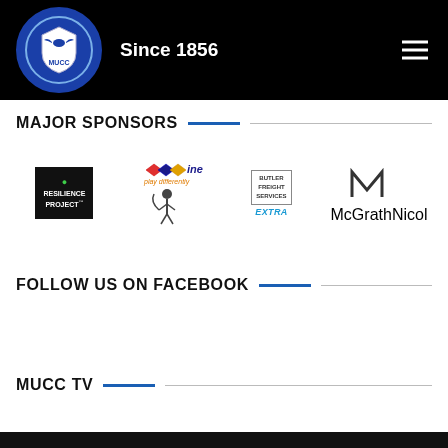MUCC — Since 1856
MAJOR SPONSORS
[Figure (logo): Four major sponsor logos: Resilience Project, Vine (play differently) golf logo, Butler Freight Services / Extra, McGrathNicol]
FOLLOW US ON FACEBOOK
MUCC TV